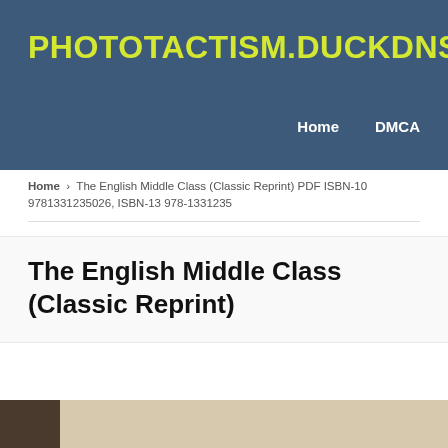PHOTOTACTISM.DUCKDNS.ORG
Home   DMCA
Home › The English Middle Class (Classic Reprint) PDF ISBN-10 9781331235026, ISBN-13 978-1331235
The English Middle Class (Classic Reprint)
[Figure (photo): Partial view of a book cover at the bottom of the page, showing a dark patch on the left and a beige/tan textured background on the right.]